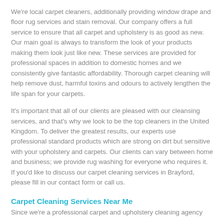We're local carpet cleaners, additionally providing window drape and floor rug services and stain removal. Our company offers a full service to ensure that all carpet and upholstery is as good as new. Our main goal is always to transform the look of your products making them look just like new. These services are provided for professional spaces in addition to domestic homes and we consistently give fantastic affordability. Thorough carpet cleaning will help remove dust, harmful toxins and odours to actively lengthen the life span for your carpets.
It's important that all of our clients are pleased with our cleansing services, and that's why we look to be the top cleaners in the United Kingdom. To deliver the greatest results, our experts use professional standard products which are strong on dirt but sensitive with your upholstery and carpets. Our clients can vary between home and business; we provide rug washing for everyone who requires it. If you'd like to discuss our carpet cleaning services in Brayford, please fill in our contact form or call us.
Carpet Cleaning Services Near Me
Since we're a professional carpet and upholstery cleaning agency